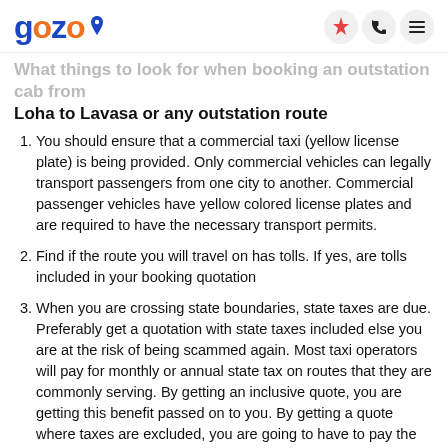gozo
What things to look for when booking an outstation cab from Loha to Lavasa or any outstation route
You should ensure that a commercial taxi (yellow license plate) is being provided. Only commercial vehicles can legally transport passengers from one city to another. Commercial passenger vehicles have yellow colored license plates and are required to have the necessary transport permits.
Find if the route you will travel on has tolls. If yes, are tolls included in your booking quotation
When you are crossing state boundaries, state taxes are due. Preferably get a quotation with state taxes included else you are at the risk of being scammed again. Most taxi operators will pay for monthly or annual state tax on routes that they are commonly serving. By getting an inclusive quote, you are getting this benefit passed on to you. By getting a quote where taxes are excluded, you are going to have to pay the taxi operator and will most likely not get